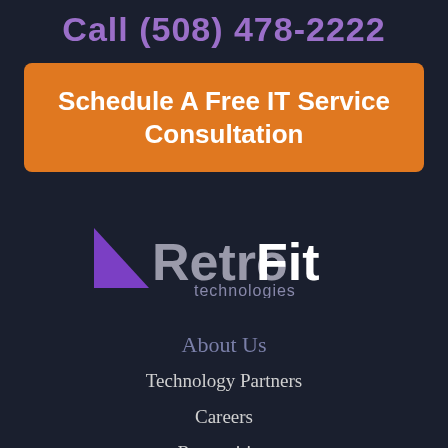Call (508) 478-2222
Schedule A Free IT Service Consultation
[Figure (logo): RetroFit Technologies logo with purple triangle and gray/white text]
About Us
Technology Partners
Careers
Recognition